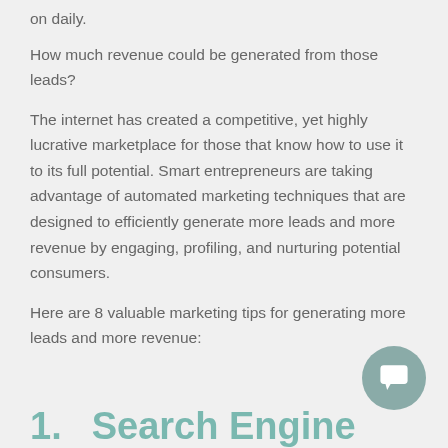on daily.
How much revenue could be generated from those leads?
The internet has created a competitive, yet highly lucrative marketplace for those that know how to use it to its full potential. Smart entrepreneurs are taking advantage of automated marketing techniques that are designed to efficiently generate more leads and more revenue by engaging, profiling, and nurturing potential consumers.
Here are 8 valuable marketing tips for generating more leads and more revenue:
1.      Search Engine